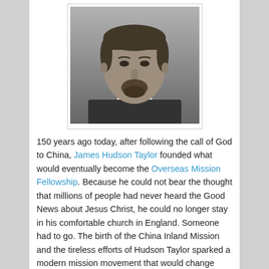[Figure (photo): Black and white portrait photograph of James Hudson Taylor, a man with facial hair wearing a dark jacket and white collar.]
150 years ago today, after following the call of God to China, James Hudson Taylor founded what would eventually become the Overseas Mission Fellowship. Because he could not bear the thought that millions of people had never heard the Good News about Jesus Christ, he could no longer stay in his comfortable church in England. Someone had to go. The birth of the China Inland Mission and the tireless efforts of Hudson Taylor sparked a modern mission movement that would change